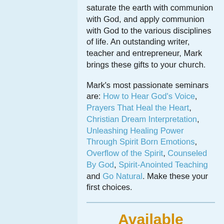saturate the earth with communion with God, and apply communion with God to the various disciplines of life. An outstanding writer, teacher and entrepreneur, Mark brings these gifts to your church.
Mark's most passionate seminars are: How to Hear God's Voice, Prayers That Heal the Heart, Christian Dream Interpretation, Unleashing Healing Power Through Spirit Born Emotions, Overflow of the Spirit, Counseled By God, Spirit-Anointed Teaching and Go Natural. Make these your first choices.
Available Seminars
How to Hear God's Voice
(Formerly titled Communion With God.) This is